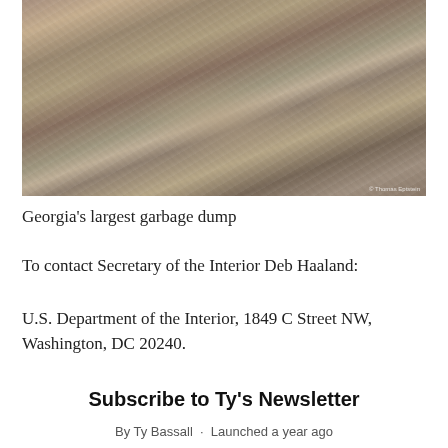[Figure (photo): Large mound of mixed garbage and waste materials at Georgia's largest garbage dump, outdoor setting with bare trees in background]
Georgia's largest garbage dump
To contact Secretary of the Interior Deb Haaland:
U.S. Department of the Interior, 1849 C Street NW, Washington, DC 20240.
Subscribe to Ty's Newsletter
By Ty Bassall · Launched a year ago